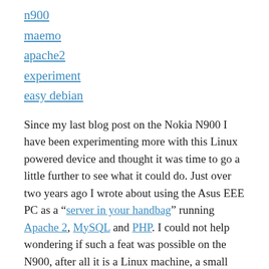n900
maemo
apache2
experiment
easy debian
Since my last blog post on the Nokia N900 I have been experimenting more with this Linux powered device and thought it was time to go a little further to see what it could do. Just over two years ago I wrote about using the Asus EEE PC as a “server in your handbag” running Apache 2, MySQL and PHP. I could not help wondering if such a feat was possible on the N900, after all it is a Linux machine, a small computer, but running the LAMP stack on a mobile phone? Maemo, the N900's operating system is a derivative of Debian, but the packages needed have not (yet) been ported,